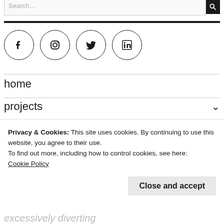Search...
[Figure (illustration): Four social media icon circles: Facebook, Instagram, Twitter, LinkedIn]
home
projects
Privacy & Cookies: This site uses cookies. By continuing to use this website, you agree to their use.
To find out more, including how to control cookies, see here:
Cookie Policy
Close and accept
excessively diverting